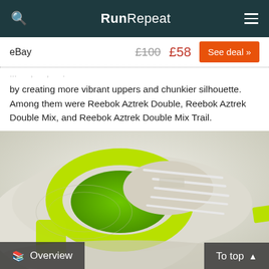RunRepeat
eBay  £100  £58  See deal »
by creating more vibrant uppers and chunkier silhouette. Among them were Reebok Aztrek Double, Reebok Aztrek Double Mix, and Reebok Aztrek Double Mix Trail.
[Figure (photo): Close-up top-down view of a white and neon yellow/green Reebok sneaker showing the collar, lacing system, and tongue area against a light background.]
Overview  To top ▲